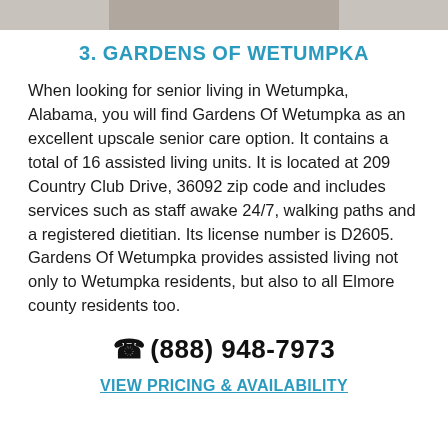[Figure (photo): Partial photo strip at top of page showing a cropped indoor scene]
3. GARDENS OF WETUMPKA
When looking for senior living in Wetumpka, Alabama, you will find Gardens Of Wetumpka as an excellent upscale senior care option. It contains a total of 16 assisted living units. It is located at 209 Country Club Drive, 36092 zip code and includes services such as staff awake 24/7, walking paths and a registered dietitian. Its license number is D2605. Gardens Of Wetumpka provides assisted living not only to Wetumpka residents, but also to all Elmore county residents too.
(888) 948-7973
VIEW PRICING & AVAILABILITY